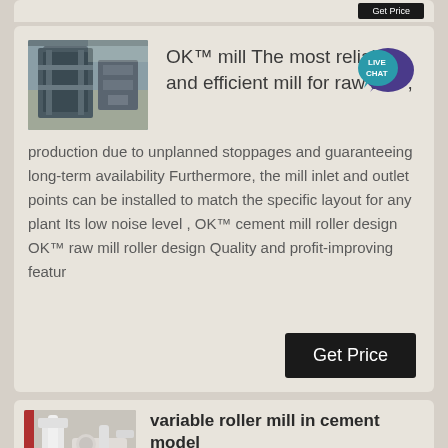[Figure (photo): Industrial mill machinery photo (top-left of first card)]
OK™ mill The most reliable and efficient mill for raw and ,
[Figure (infographic): Live Chat speech bubble badge icon in teal/purple]
production due to unplanned stoppages and guaranteeing long-term availability Furthermore, the mill inlet and outlet points can be installed to match the specific layout for any plant Its low noise level , OK™ cement mill roller design OK™ raw mill roller design Quality and profit-improving featur
[Figure (photo): Variable roller mill equipment photo (top-left of second card)]
variable roller mill in cement model
INVT GD5000 MV Drive for Cement